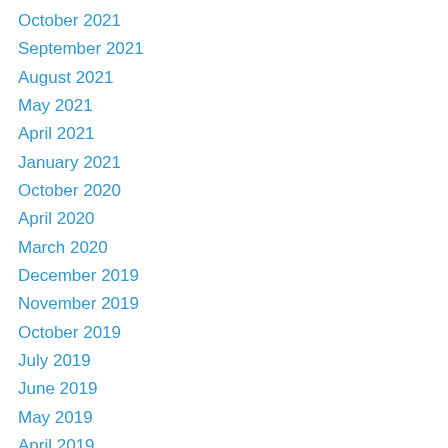October 2021
September 2021
August 2021
May 2021
April 2021
January 2021
October 2020
April 2020
March 2020
December 2019
November 2019
October 2019
July 2019
June 2019
May 2019
April 2019
March 2019
February 2019
December 2018
November 2018